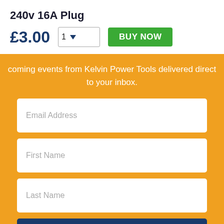240v 16A Plug
£3.00
coming events from Kelvin Power Tools delivered direct to your inbox.
Email Address
First Name
Last Name
Submit